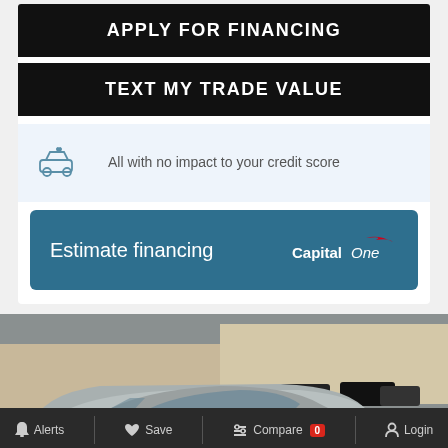APPLY FOR FINANCING
TEXT MY TRADE VALUE
All with no impact to your credit score
Estimate financing
[Figure (screenshot): Car dealership photo showing a silver sedan in a dealership lot with other vehicles and building in background]
Chat Live
Text Us
Alerts  Save  Compare 0  Login